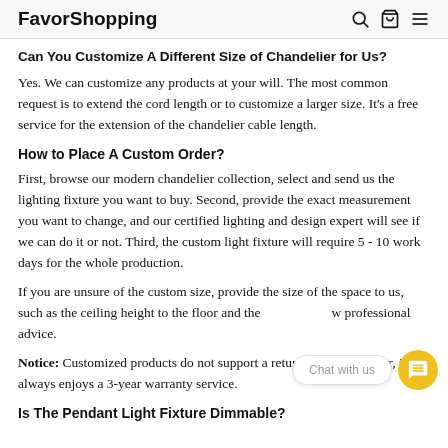FavorShopping
Can You Customize A Different Size of Chandelier for Us?
Yes. We can customize any products at your will. The most common request is to extend the cord length or to customize a larger size. It's a free service for the extension of the chandelier cable length.
How to Place A Custom Order?
First, browse our modern chandelier collection, select and send us the lighting fixture you want to buy. Second, provide the exact measurement you want to change, and our certified lighting and design expert will see if we can do it or not. Third, the custom light fixture will require 5 - 10 work days for the whole production.
If you are unsure of the custom size, provide the size of the space to us, such as the ceiling height to the floor and the width. We will give professional advice.
Notice: Customized products do not support a return policy, however, it always enjoys a 3-year warranty service.
Is The Pendant Light Fixture Dimmable?